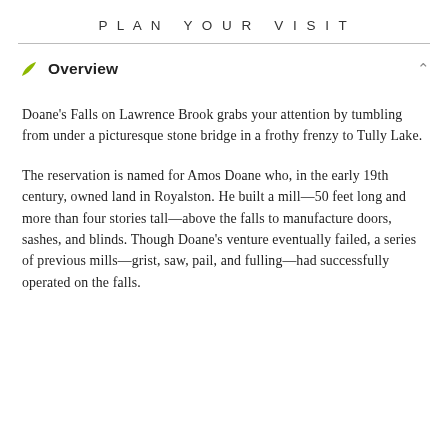PLAN YOUR VISIT
Overview
Doane's Falls on Lawrence Brook grabs your attention by tumbling from under a picturesque stone bridge in a frothy frenzy to Tully Lake.
The reservation is named for Amos Doane who, in the early 19th century, owned land in Royalston. He built a mill—50 feet long and more than four stories tall—above the falls to manufacture doors, sashes, and blinds. Though Doane's venture eventually failed, a series of previous mills—grist, saw, pail, and fulling—had successfully operated on the falls.